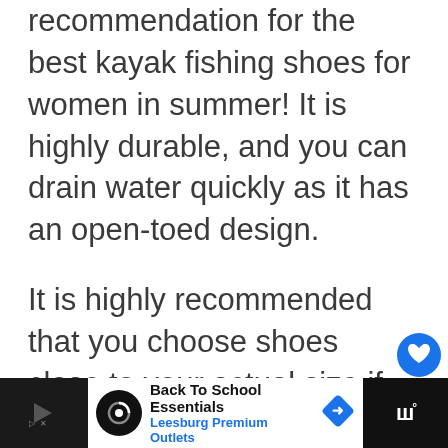recommendation for the best kayak fishing shoes for women in summer! It is highly durable, and you can drain water quickly as it has an open-toed design.
It is highly recommended that you choose shoes close to your actual size if you're looking to purchase this pair.
[Figure (screenshot): Website UI overlay elements: a blue heart/like button, share count of 1, share button, and a 'What's Next' recommendation widget showing 'Top 11 Best Whitewater...' article.]
[Figure (screenshot): Advertisement banner at the bottom: 'Back To School Essentials - Leesburg Premium Outlets' with dark bars on left and right sides.]